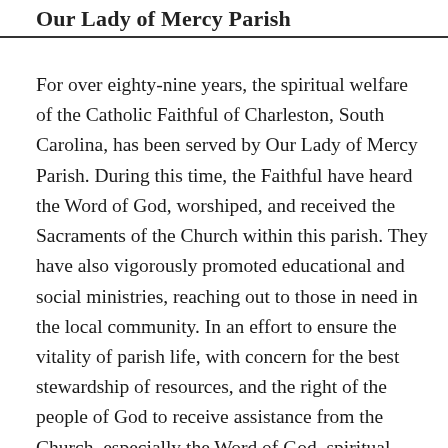Our Lady of Mercy Parish
For over eighty-nine years, the spiritual welfare of the Catholic Faithful of Charleston, South Carolina, has been served by Our Lady of Mercy Parish. During this time, the Faithful have heard the Word of God, worshiped, and received the Sacraments of the Church within this parish. They have also vigorously promoted educational and social ministries, reaching out to those in need in the local community. In an effort to ensure the vitality of parish life, with concern for the best stewardship of resources, and the right of the people of God to receive assistance from the Church, especially the Word of God, spiritual